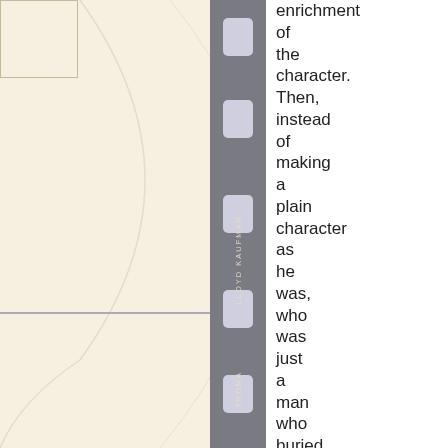[Figure (illustration): Left panel with cream/beige background showing partial film reel or curved arc illustration, with a small rectangle in top-left corner and a horizontal dividing line across the panel. Center shows a vertical filmstrip with rounded rectangular holes and vertical watermark text.]
enrichment of the character. Then, instead of making a plain character as he was, who was just a man who buried the dead and then